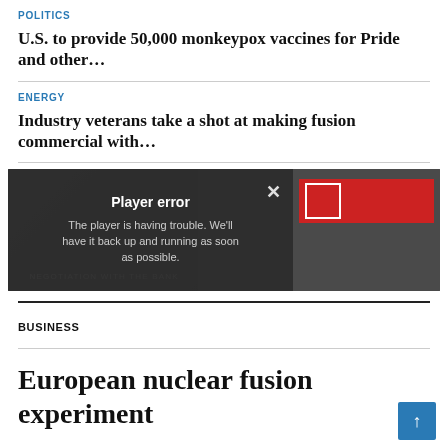POLITICS
U.S. to provide 50,000 monkeypox vaccines for Pride and other…
ENERGY
Industry veterans take a shot at making fusion commercial with…
[Figure (screenshot): Video player error overlay showing 'Player error' message: 'The player is having trouble. We'll have it back up and running as soon as possible.' with a red advertisement box on the right side.]
BUSINESS
European nuclear fusion experiment